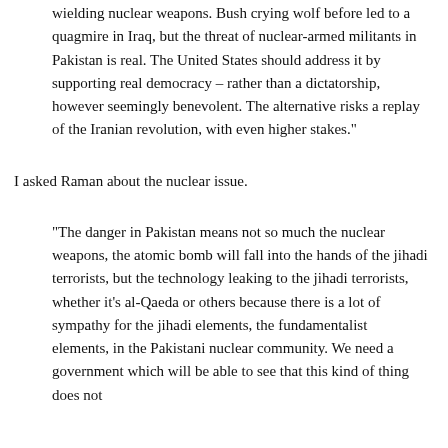wielding nuclear weapons. Bush crying wolf before led to a quagmire in Iraq, but the threat of nuclear-armed militants in Pakistan is real. The United States should address it by supporting real democracy – rather than a dictatorship, however seemingly benevolent. The alternative risks a replay of the Iranian revolution, with even higher stakes."
I asked Raman about the nuclear issue.
"The danger in Pakistan means not so much the nuclear weapons, the atomic bomb will fall into the hands of the jihadi terrorists, but the technology leaking to the jihadi terrorists, whether it's al-Qaeda or others because there is a lot of sympathy for the jihadi elements, the fundamentalist elements, in the Pakistani nuclear community. We need a government which will be able to see that this kind of thing does not